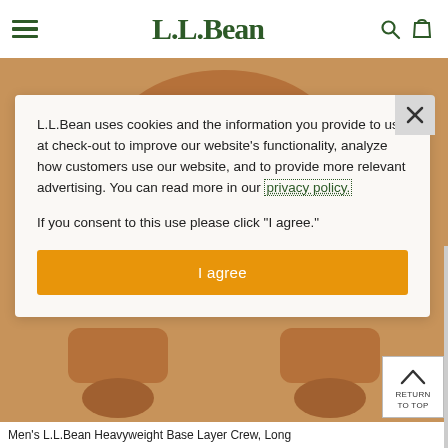L.L.Bean
[Figure (screenshot): L.L.Bean website screenshot showing a brown heavyweight base layer crew shirt product page with a cookie consent modal overlay. The modal has a close (X) button, cookie policy text with a privacy policy link, an 'I agree' orange button, and a 'Return to Top' widget. At the bottom is a partial product title: Men's L.L.Bean Heavyweight Base Layer Crew, Long.]
L.L.Bean uses cookies and the information you provide to us at check-out to improve our website’s functionality, analyze how customers use our website, and to provide more relevant advertising. You can read more in our privacy policy.
If you consent to this use please click “I agree.”
I agree
Men’s L.L.Bean Heavyweight Base Layer Crew, Long